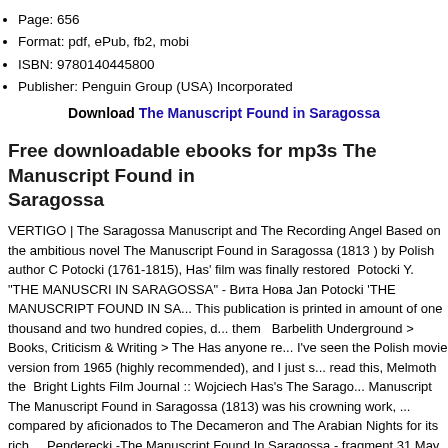Page: 656
Format: pdf, ePub, fb2, mobi
ISBN: 9780140445800
Publisher: Penguin Group (USA) Incorporated
Download The Manuscript Found in Saragossa
Free downloadable ebooks for mp3s The Manuscript Found in Saragossa
VERTIGO | The Saragossa Manuscript and The Recording Angel Based on the ambitious novel The Manuscript Found in Saragossa (1813 ) by Polish author C Potocki (1761-1815), Has' film was finally restored  Potocki Y. "THE MANUSCRIPT IN SARAGOSSA" - Вита Нова Jan Potocki 'THE MANUSCRIPT FOUND IN SA... This publication is printed in amount of one thousand and two hundred copies, c... them   Barbelith Underground > Books, Criticism & Writing > The Has anyone re... I've seen the Polish movie version from 1965 (highly recommended), and I just s... read this, Melmoth the  Bright Lights Film Journal :: Wojciech Has's The Sarago... Manuscript The Manuscript Found in Saragossa (1813) was his crowning work, ... compared by aficionados to The Decameron and The Arabian Nights for its rich ... Penderecki -The Manuscript Found In Saragossa - fragment 31 May 2012 - 5 m... by Extension83Original Motion Picture Sound Track With Krzysztof Penderecki ... Film By Wojciech Westminster Wisdom: The Manuscript found in Saragossa From onwards he prepared a vast manuscript- the Manuscript found in Saragossa, wh... adventures of Alphonse Van  The Manuscript Found in Saragossa - The Book D...